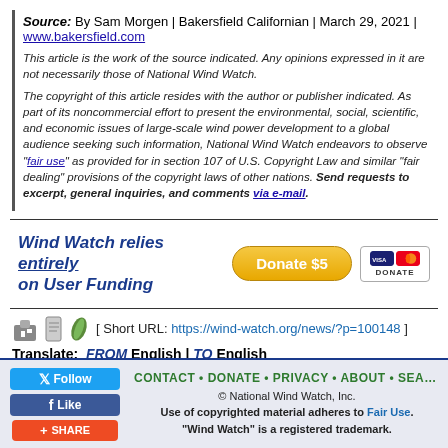Source: By Sam Morgen | Bakersfield Californian | March 29, 2021 | www.bakersfield.com
This article is the work of the source indicated. Any opinions expressed in it are not necessarily those of National Wind Watch.
The copyright of this article resides with the author or publisher indicated. As part of its noncommercial effort to present the environmental, social, scientific, and economic issues of large-scale wind power development to a global audience seeking such information, National Wind Watch endeavors to observe "fair use" as provided for in section 107 of U.S. Copyright Law and similar "fair dealing" provisions of the copyright laws of other nations. Send requests to excerpt, general inquiries, and comments via e-mail.
[Figure (infographic): Wind Watch relies entirely on User Funding banner with Donate $5 button and Visa/Mastercard icons]
[ Short URL: https://wind-watch.org/news/?p=100148 ]
Translate: FROM English | TO English
« Later Post • News Watch Home • Earlier Post »
CONTACT • DONATE • PRIVACY • ABOUT • SEARCH | © National Wind Watch, Inc. | Use of copyrighted material adheres to Fair Use. | "Wind Watch" is a registered trademark.